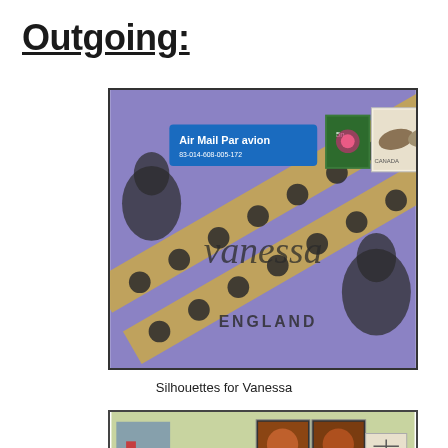Outgoing:
[Figure (photo): A purple envelope addressed to 'vanessa' with decorative silhouette cameo tape diagonally, an Air Mail / Par avion sticker, Canadian postage stamps including a horse stamp, and 'ENGLAND' written at the bottom.]
Silhouettes for Vanessa
[Figure (photo): A second decorative outgoing envelope with collage elements, postage stamps, and handwritten text reading 'please deliver to: Sarah Gaskin'.]